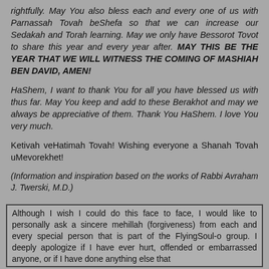rightfully. May You also bless each and every one of us with Parnassah Tovah beShefa so that we can increase our Sedakah and Torah learning. May we only have Bessorot Tovot to share this year and every year after. MAY THIS BE THE YEAR THAT WE WILL WITNESS THE COMING OF MASHIAH BEN DAVID, AMEN!
HaShem, I want to thank You for all you have blessed us with thus far. May You keep and add to these Berakhot and may we always be appreciative of them. Thank You HaShem. I love You very much.
Ketivah veHatimah Tovah! Wishing everyone a Shanah Tovah uMevorekhet!
(Information and inspiration based on the works of Rabbi Avraham J. Twerski, M.D.)
Although I wish I could do this face to face, I would like to personally ask a sincere mehillah (forgiveness) from each and every special person that is part of the FlyingSoul-o group. I deeply apologize if I have ever hurt, offended or embarrassed anyone, or if I have done anything else that